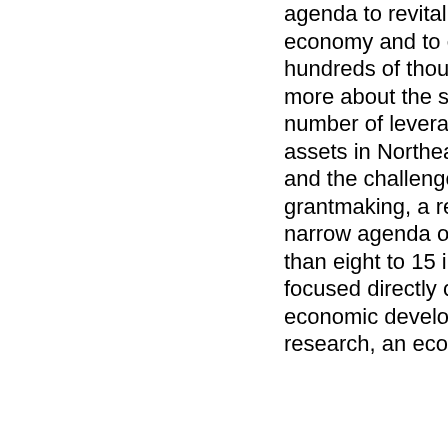agenda to revitalize the economy and to educate hundreds of thousands more about the stunning number of leverageable assets in Northeast Ohio and the challenges we face; grantmaking, a relatively narrow agenda of no more than eight to 15 initiatives focused directly on economic development; and research, an economic
with red ships
SCAN AMERICA - LIVE SCAN OF POLICE FIRE EMERGANCY - IN THE USA - AND MORE
Archiving PD comments
Fish Cleveland Walleye Tour Sept 30
All time:
? of the day: Who your favorite local artists?
? of the Day: Is air pollution in the reg becoming better, staying the same or becoming worse?
Last viewed:
Be a Tutor in The Saturday Tutoring Program's 22nd ye
Bike Cleveland Summit